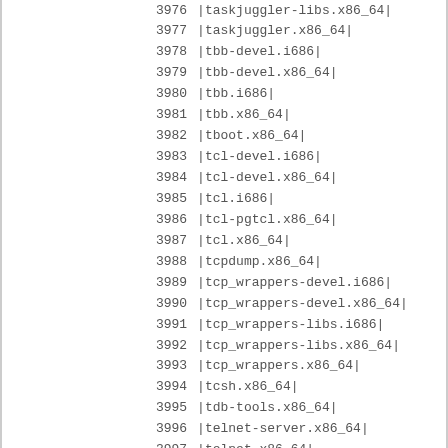| number | package |
| --- | --- |
| 3976 | |taskjuggler-libs.x86_64| |
| 3977 | |taskjuggler.x86_64| |
| 3978 | |tbb-devel.i686| |
| 3979 | |tbb-devel.x86_64| |
| 3980 | |tbb.i686| |
| 3981 | |tbb.x86_64| |
| 3982 | |tboot.x86_64| |
| 3983 | |tcl-devel.i686| |
| 3984 | |tcl-devel.x86_64| |
| 3985 | |tcl.i686| |
| 3986 | |tcl-pgtcl.x86_64| |
| 3987 | |tcl.x86_64| |
| 3988 | |tcpdump.x86_64| |
| 3989 | |tcp_wrappers-devel.i686| |
| 3990 | |tcp_wrappers-devel.x86_64| |
| 3991 | |tcp_wrappers-libs.i686| |
| 3992 | |tcp_wrappers-libs.x86_64| |
| 3993 | |tcp_wrappers.x86_64| |
| 3994 | |tcsh.x86_64| |
| 3995 | |tdb-tools.x86_64| |
| 3996 | |telnet-server.x86_64| |
| 3997 | |telnet.x86_64| |
| 3998 | |terminus-fonts.noarch| |
| 3999 | |tex-cm-lgc.noarch| |
| 4000 | |texinfo.x86_64| |